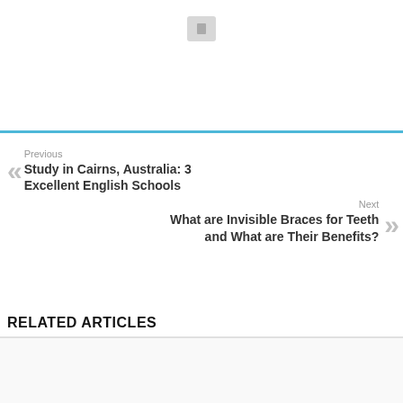[Figure (other): Small icon/button box in top area]
Previous
Study in Cairns, Australia: 3 Excellent English Schools
Next
What are Invisible Braces for Teeth and What are Their Benefits?
RELATED ARTICLES